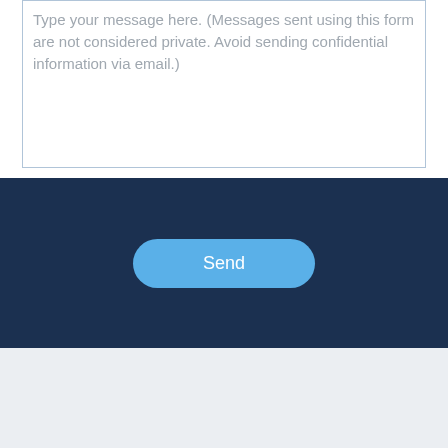Type your message here. (Messages sent using this form are not considered private.  Avoid sending confidential information via email.)
[Figure (screenshot): A 'Send' button with rounded corners, light blue background, white text, centered in a dark navy blue section]